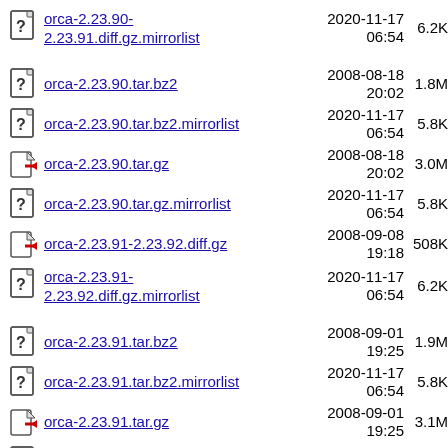orca-2.23.90-2.23.91.diff.gz.mirrorlist  2020-11-17 06:54  6.2K
orca-2.23.90.tar.bz2  2008-08-18 20:02  1.8M
orca-2.23.90.tar.bz2.mirrorlist  2020-11-17 06:54  5.8K
orca-2.23.90.tar.gz  2008-08-18 20:02  3.0M
orca-2.23.90.tar.gz.mirrorlist  2020-11-17 06:54  5.8K
orca-2.23.91-2.23.92.diff.gz  2008-09-08 19:18  508K
orca-2.23.91-2.23.92.diff.gz.mirrorlist  2020-11-17 06:54  6.2K
orca-2.23.91.tar.bz2  2008-09-01 19:25  1.9M
orca-2.23.91.tar.bz2.mirrorlist  2020-11-17 06:54  5.8K
orca-2.23.91.tar.gz  2008-09-01 19:25  3.1M
orca-2.23.91.tar.gz.mirrorlist  2020-11-17 06:54  5.8K